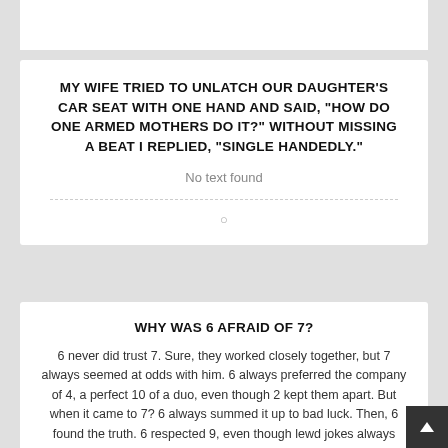MY WIFE TRIED TO UNLATCH OUR DAUGHTER’S CAR SEAT WITH ONE HAND AND SAID, “HOW DO ONE ARMED MOTHERS DO IT?” WITHOUT MISSING A BEAT I REPLIED, “SINGLE HANDEDLY.”
No text found
WHY WAS 6 AFRAID OF 7?
6 never did trust 7. Sure, they worked closely together, but 7 always seemed at odds with him. 6 always preferred the company of 4, a perfect 10 of a duo, even though 2 kept them apart. But when it came to 7? 6 always summed it up to bad luck. Then, 6 found the truth. 6 respected 9, even though lewd jokes always seemed to be made about the two. 6 found that 3 and